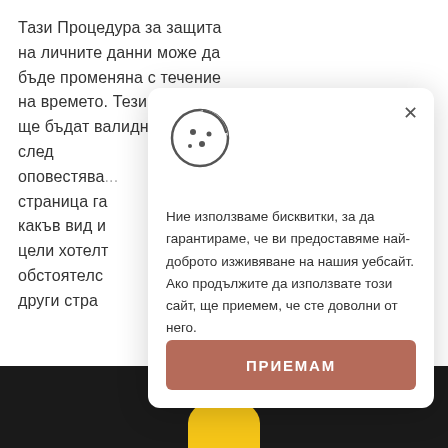Тази Процедура за защита на личните данни може да бъде променяна с течение на времето. Тези промени ще бъдат валидни веднага след оповестяването им. Разгледайте тази страница га... какъв вид и... цели хотелт... обстоятелс... други стра...
[Figure (illustration): Cookie consent popup modal with cookie icon, close button (×), descriptive text in Bulgarian about using cookies, and an accept button labeled ПРИЕМАМ]